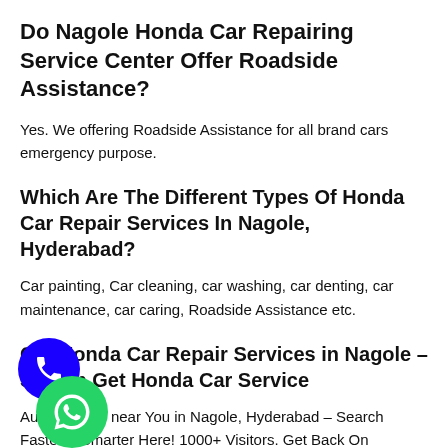Do Nagole Honda Car Repairing Service Center Offer Roadside Assistance?
Yes. We offering Roadside Assistance for all brand cars emergency purpose.
Which Are The Different Types Of Honda Car Repair Services In Nagole, Hyderabad?
Car painting, Car cleaning, car washing, car denting, car maintenance, car caring, Roadside Assistance etc.
Get Honda Car Repair Services in Nagole – Search Get Honda Car Service
Auto Repairs near You in Nagole, Hyderabad – Search Faster & Smarter Here! 1000+ Visitors. Get Back On